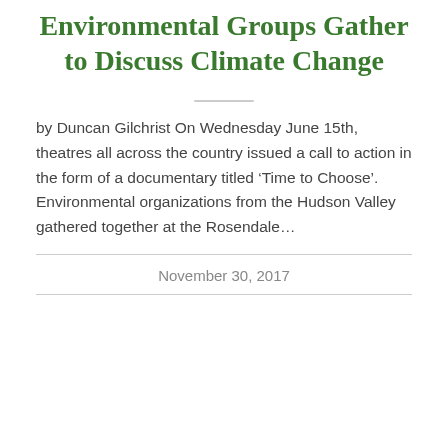Environmental Groups Gather to Discuss Climate Change
by Duncan Gilchrist On Wednesday June 15th, theatres all across the country issued a call to action in the form of a documentary titled ‘Time to Choose’. Environmental organizations from the Hudson Valley gathered together at the Rosendale…
November 30, 2017